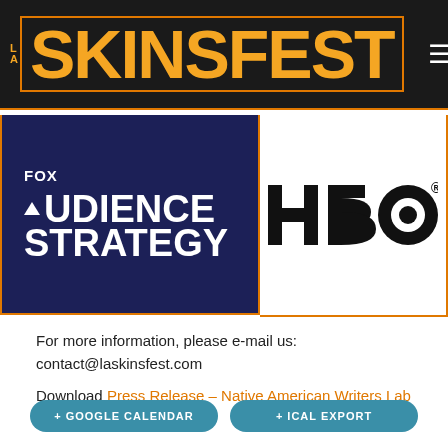[Figure (logo): LA Skins Fest logo — orange text on black background with orange/red border]
[Figure (logo): Fox Audience Strategy logo — white bold text on dark navy blue background]
[Figure (logo): HBO logo — large bold black text with registered trademark symbol on white background]
For more information, please e-mail us:
contact@laskinsfest.com
Download Press Release – Native American Writers Lab Selections
+ GOOGLE CALENDAR
+ ICAL EXPORT